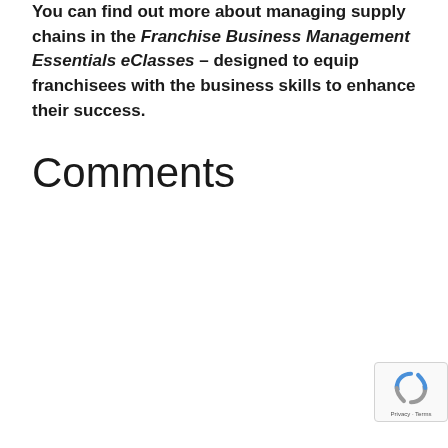You can find out more about managing supply chains in the Franchise Business Management Essentials eClasses – designed to equip franchisees with the business skills to enhance their success.
Comments